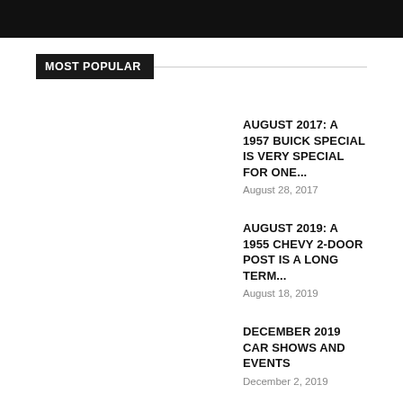[Figure (other): Black header bar at top of page]
MOST POPULAR
AUGUST 2017: A 1957 BUICK SPECIAL IS VERY SPECIAL FOR ONE...
August 28, 2017
AUGUST 2019: A 1955 CHEVY 2-DOOR POST IS A LONG TERM...
August 18, 2019
DECEMBER 2019 CAR SHOWS AND EVENTS
December 2, 2019
OCTOBER 29, 2013 (NOVEMBER 2013): NATIONAL LAMPOON'S 'VACATION' HAD A